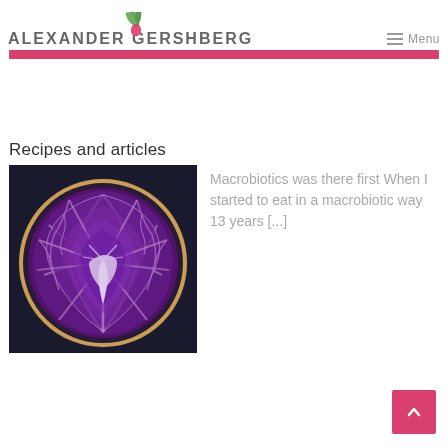ALEXANDER GERSHBERG Menu
[Figure (illustration): Red cabbage cross-section viewed from above, showing intricate purple and white leaf patterns in a circular form on a dark background]
Recipes and articles
Macrobiotics was there first When I started to eat in a macrobiotic way 13 years [...]